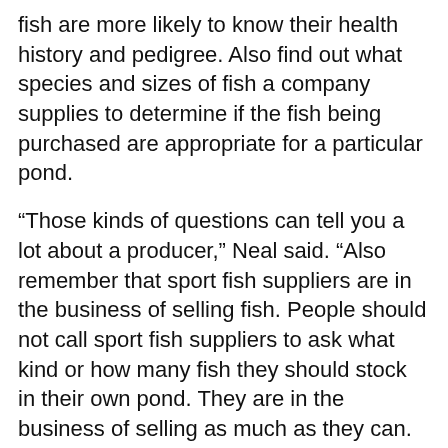fish are more likely to know their health history and pedigree. Also find out what species and sizes of fish a company supplies to determine if the fish being purchased are appropriate for a particular pond.
“Those kinds of questions can tell you a lot about a producer,” Neal said. “Also remember that sport fish suppliers are in the business of selling fish. People should not call sport fish suppliers to ask what kind or how many fish they should stock in their own pond. They are in the business of selling as much as they can. They have the potential to overestimate stocking rates or recommend fish that are not compatible with the landowner’s goals.”
The MSU Department of Wildlife and Fisheries offers a publication listing sport fish suppliers for Mississippi ponds. Among the information provided are tips on selecting a supplier, species recommendations for Mississippi ponds, and stocking tables.